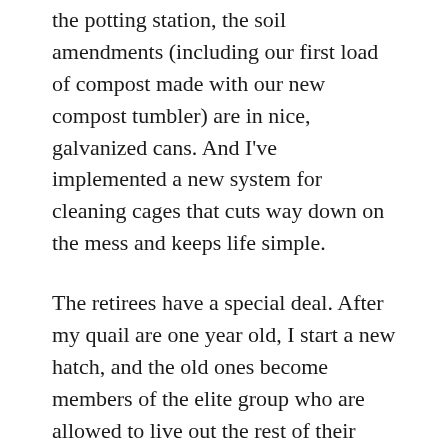the potting station, the soil amendments (including our first load of compost made with our new compost tumbler) are in nice, galvanized cans. And I've implemented a new system for cleaning cages that cuts way down on the mess and keeps life simple.
The retirees have a special deal. After my quail are one year old, I start a new hatch, and the old ones become members of the elite group who are allowed to live out the rest of their days cage-free, out in the room. I spread Aspen shred everywhere, and brought in piles of fresh cut winter grass for nesting. There is a plastic swimming pool full of sand and logs, for them to clean themselves. They have the water run-off in the plant saucers to drink. They eat very little feed in an arrangement like this, so they are not a drain, economically. The life expectancy of a quail is about 2 years and their egg